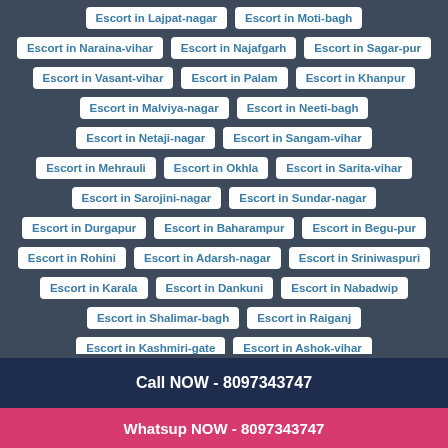Escort in Lajpat-nagar
Escort in Moti-bagh
Escort in Naraina-vihar
Escort in Najafgarh
Escort in Sagar-pur
Escort in Vasant-vihar
Escort in Palam
Escort in Khanpur
Escort in Malviya-nagar
Escort in Neeti-bagh
Escort in Netaji-nagar
Escort in Sangam-vihar
Escort in Mehrauli
Escort in Okhla
Escort in Sarita-vihar
Escort in Sarojini-nagar
Escort in Sundar-nagar
Escort in Durgapur
Escort in Baharampur
Escort in Begu-pur
Escort in Rohini
Escort in Adarsh-nagar
Escort in Sriniwaspuri
Escort in Karala
Escort in Dankuni
Escort in Nabadwip
Escort in Shalimar-bagh
Escort in Raiganj
Escort in Kashmiri-gate
Escort in Ashok-vihar
Escort in Krishnanagar
Escort in Pitam-pura
Escort in Malda
Call NOW - 8097343747
Whatsup NOW - 8097343747